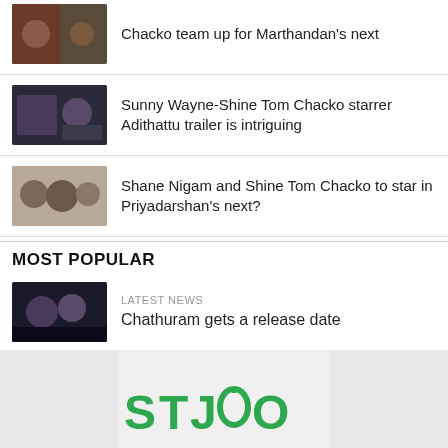Chacko team up for Marthandan's next
Sunny Wayne-Shine Tom Chacko starrer Adithattu trailer is intriguing
Shane Nigam and Shine Tom Chacko to star in Priyadarshan's next?
MOST POPULAR
LATEST NEWS
Chathuram gets a release date
[Figure (logo): STOJO brand logo in green]